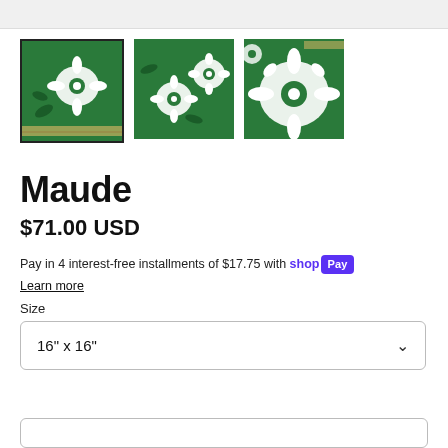[Figure (photo): Three thumbnail images of a green and white floral patterned cushion cover. First thumbnail is selected (has black border), showing side view with zipper. Second and third show flat lay and close-up of the floral pattern.]
Maude
$71.00 USD
Pay in 4 interest-free installments of $17.75 with shop Pay
Learn more
Size
16" x 16"